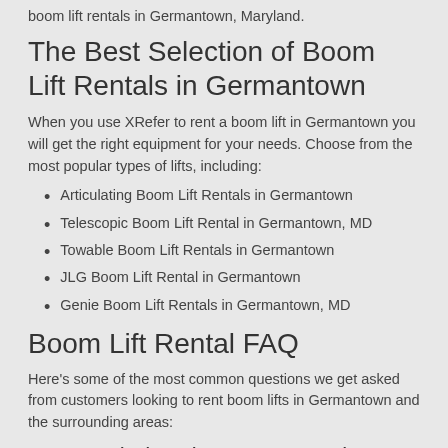boom lift rentals in Germantown, Maryland.
The Best Selection of Boom Lift Rentals in Germantown
When you use XRefer to rent a boom lift in Germantown you will get the right equipment for your needs. Choose from the most popular types of lifts, including:
Articulating Boom Lift Rentals in Germantown
Telescopic Boom Lift Rental in Germantown, MD
Towable Boom Lift Rentals in Germantown
JLG Boom Lift Rental in Germantown
Genie Boom Lift Rentals in Germantown, MD
Boom Lift Rental FAQ
Here's some of the most common questions we get asked from customers looking to rent boom lifts in Germantown and the surrounding areas:
How much does it cost to rent a boom lift in Germantown?
Germantown boom lift rentals can be as low as $80 per day for